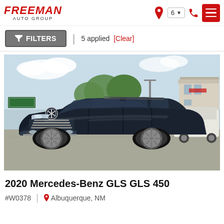FREEMAN AUTO GROUP
FILTERS | 5 applied [Clear]
[Figure (photo): 2020 Mercedes-Benz GLS 450 black SUV parked in a dealership lot, front three-quarter view, with trees and other vehicles visible in background]
2020 Mercedes-Benz GLS GLS 450
#W0378 | Albuquerque, NM